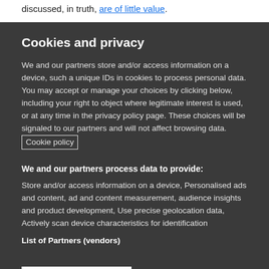discussed, in truth, are of little value.
Cookies and privacy
We and our partners store and/or access information on a device, such a unique IDs in cookies to process personal data. You may accept or manage your choices by clicking below, including your right to object where legitimate interest is used, or at any time in the privacy policy page. These choices will be signaled to our partners and will not affect browsing data. Cookie policy
We and our partners process data to provide:
Store and/or access information on a device, Personalised ads and content, ad and content measurement, audience insights and product development, Use precise geolocation data, Actively scan device characteristics for identification
List of Partners (vendors)
I Accept